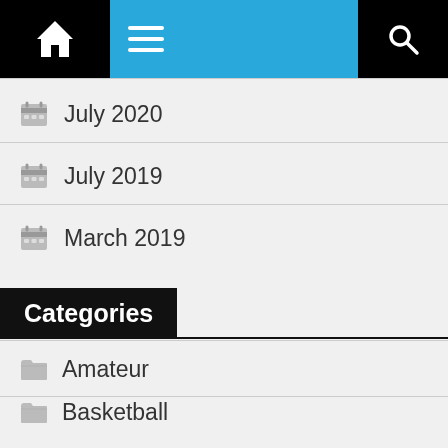Navigation bar with home, menu, and search icons
July 2020
July 2019
March 2019
Categories
Amateur
Basketball
ESports
Football